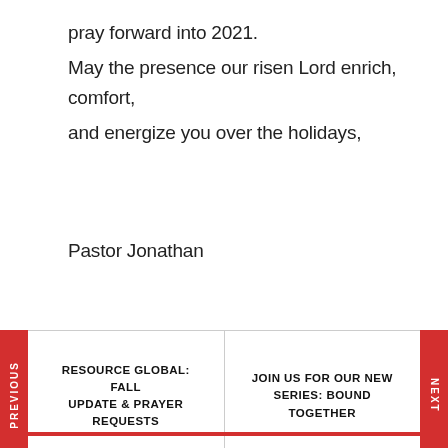pray forward into 2021.
May the presence our risen Lord enrich, comfort, and energize you over the holidays,
Pastor Jonathan
| PREVIOUS | NEXT |
| --- | --- |
| RESOURCE GLOBAL: FALL UPDATE & PRAYER REQUESTS | JOIN US FOR OUR NEW SERIES: BOUND TOGETHER |